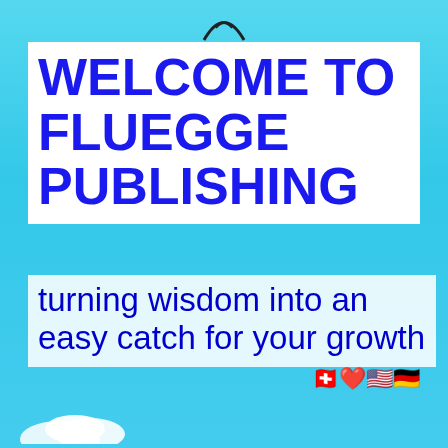[Figure (illustration): Light blue sky background with white cloud at bottom left and a bird/logo silhouette at the top center]
WELCOME TO FLUEGGE PUBLISHING
turning wisdom into an easy catch for your growth
[Figure (illustration): Small flag emoji cluster: Swiss, American, and German flags grouped together]